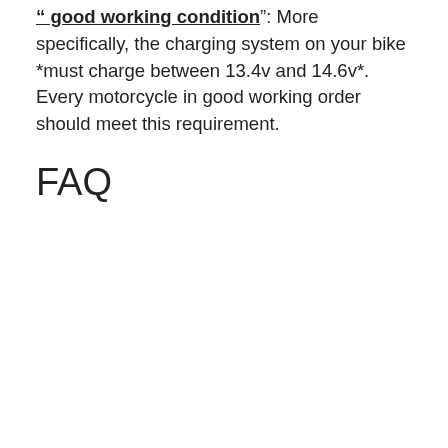" good working condition": More specifically, the charging system on your bike *must charge between 13.4v and 14.6v*. Every motorcycle in good working order should meet this requirement.
FAQ